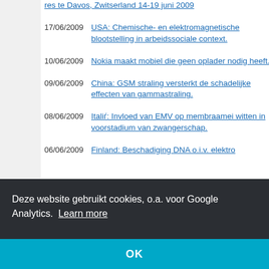res te Davos, Zwitserland 14-19 juni 2009
17/06/2009 USA: Chemische- en elektromagnetische blootstelling in arbeidssociale context.
10/06/2009 Nokia maakt mobiel die geen oplader nodig heeft.
09/06/2009 China: GSM straling versterkt de schadelijke effecten van gammastraling.
08/06/2009 Italië: Invloed van EMV op membraameiwit ten in voorstadium van zwangerschap.
06/06/2009 Finland: Beschadiging DNA o.i.v. elektro... bevestigd.
Deze website gebruikt cookies, o.a. voor Google Analytics. Learn more
OK
01/06/2009 Duitsland: Kanker-incidentie in de nabijheid...